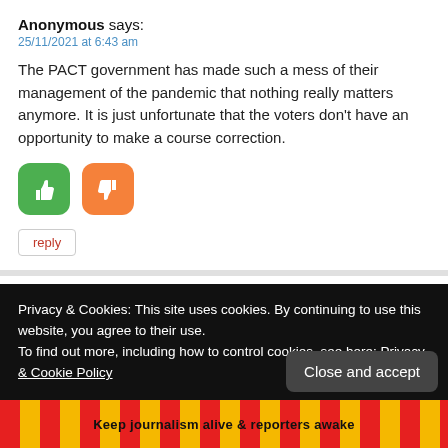Anonymous says:
25/11/2021 at 6:43 am
The PACT government has made such a mess of their management of the pandemic that nothing really matters anymore. It is just unfortunate that the voters don't have an opportunity to make a course correction.
[Figure (illustration): Green thumbs-up button and orange thumbs-down button]
reply
Anonymous says:
25/11/2021 at 6:29 am
Privacy & Cookies: This site uses cookies. By continuing to use this website, you agree to their use.
To find out more, including how to control cookies, see here: Privacy & Cookie Policy
Close and accept
Keep journalism alive & reporters awake